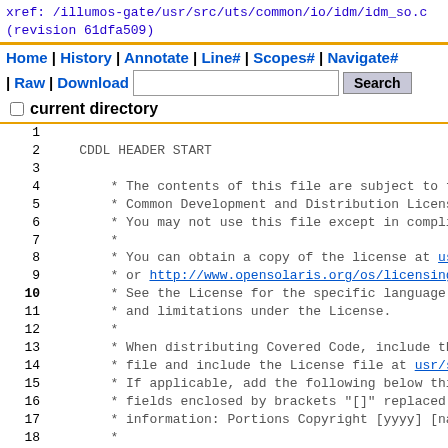xref: /illumos-gate/usr/src/uts/common/io/idm/idm_so.c
(revision 61dfa509)
Home | History | Annotate | Line# | Scopes# | Navigate# | Raw | Download [search box] Search
□ current directory
1
2   CDDL HEADER START
3
4       * The contents of this file are subject to the te
5       * Common Development and Distribution License (th
6       * You may not use this file except in compliance
7       *
8       * You can obtain a copy of the license at usr/src
9       * or http://www.opensolaris.org/os/licensing.
10      * See the License for the specific language gover
11      * and limitations under the License.
12      *
13      * When distributing Covered Code, include this CD
14      * file and include the License file at usr/src/OP
15      * If applicable, add the following below this CDD
16      * fields enclosed by brackets "[]" replaced with
17      * information: Portions Copyright [yyyy] [name of
18      *
19      * CDDL HEADER END
20      */
21      /*
22      * Copyright 2010 Sun Microsystems, Inc.  All righ
23      * Use is subject to license terms.
24      */
25      /*
26      * Copyright (c) 2012, by Delphix. All rights rese